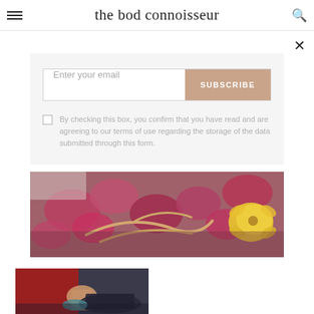the bod connoisseur
By checking this box, you confirm that you have read and are agreeing to our terms of use regarding the storage of the data submitted through this form.
[Figure (photo): Close-up photo of colorful sandals with straps on a floral background, featuring pink/red flowers and a yellow floral element]
[Figure (photo): Partial photo showing hands and shoes, with a red background element]